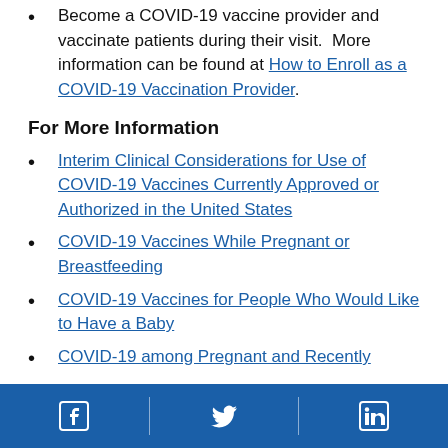Become a COVID-19 vaccine provider and vaccinate patients during their visit. More information can be found at How to Enroll as a COVID-19 Vaccination Provider.
For More Information
Interim Clinical Considerations for Use of COVID-19 Vaccines Currently Approved or Authorized in the United States
COVID-19 Vaccines While Pregnant or Breastfeeding
COVID-19 Vaccines for People Who Would Like to Have a Baby
COVID-19 among Pregnant and Recently
Facebook Twitter LinkedIn